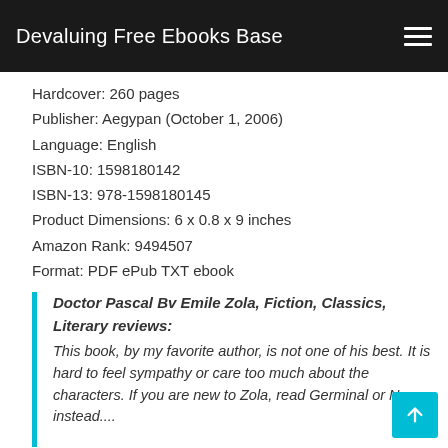Devaluing Free Ebooks Base
Hardcover: 260 pages
Publisher: Aegypan (October 1, 2006)
Language: English
ISBN-10: 1598180142
ISBN-13: 978-1598180145
Product Dimensions: 6 x 0.8 x 9 inches
Amazon Rank: 9494507
Format: PDF ePub TXT ebook
Doctor Pascal Bv Emile Zola, Fiction, Classics, Literary reviews: This book, by my favorite author, is not one of his best. It is hard to feel sympathy or care too much about the characters. If you are new to Zola, read Germinal or Nana instead....